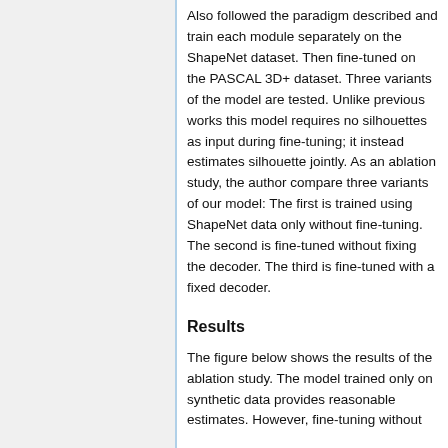Also followed the paradigm described and train each module separately on the ShapeNet dataset. Then fine-tuned on the PASCAL 3D+ dataset. Three variants of the model are tested. Unlike previous works this model requires no silhouettes as input during fine-tuning; it instead estimates silhouette jointly. As an ablation study, the author compare three variants of our model: The first is trained using ShapeNet data only without fine-tuning. The second is fine-tuned without fixing the decoder. The third is fine-tuned with a fixed decoder.
Results
The figure below shows the results of the ablation study. The model trained only on synthetic data provides reasonable estimates. However, fine-tuning without